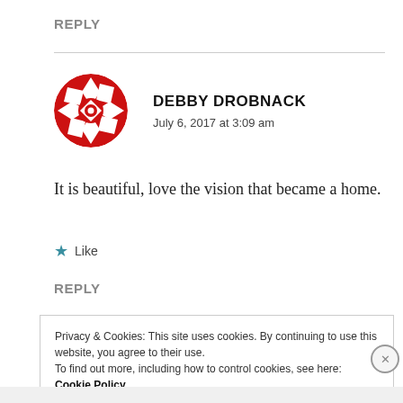REPLY
[Figure (illustration): Round avatar with red and white geometric/floral pattern, like a quilting design, on white background]
DEBBY DROBNACK
July 6, 2017 at 3:09 am
It is beautiful, love the vision that became a home.
★ Like
REPLY
Privacy & Cookies: This site uses cookies. By continuing to use this website, you agree to their use.
To find out more, including how to control cookies, see here: Cookie Policy
Close and accept